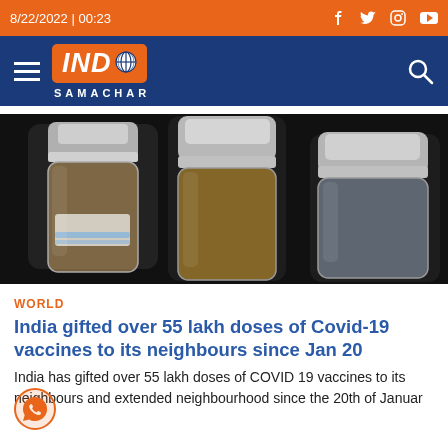8/22/2022 | 00:23
[Figure (logo): IND Samachar logo with orange background and globe icon, on navy blue navigation bar]
[Figure (photo): Three vaccine vials with metal caps on dark background]
WORLD
India gifted over 55 lakh doses of Covid-19 vaccines to its neighbours since Jan 20
India has gifted over 55 lakh doses of COVID 19 vaccines to its neighbours and extended neighbourhood since the 20th of Januar